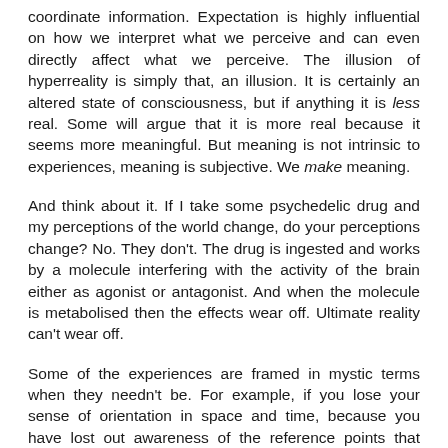coordinate information. Expectation is highly influential on how we interpret what we perceive and can even directly affect what we perceive. The illusion of hyperreality is simply that, an illusion. It is certainly an altered state of consciousness, but if anything it is less real. Some will argue that it is more real because it seems more meaningful. But meaning is not intrinsic to experiences, meaning is subjective. We make meaning.
And think about it. If I take some psychedelic drug and my perceptions of the world change, do your perceptions change? No. They don't. The drug is ingested and works by a molecule interfering with the activity of the brain either as agonist or antagonist. And when the molecule is metabolised then the effects wear off. Ultimate reality can't wear off.
Some of the experiences are framed in mystic terms when they needn't be. For example, if you lose your sense of orientation in space and time, because you have lost out awareness of the reference points that make this possible, you have not, as the questionnaire suggests "transcended space and time". You just lost your awareness of them. No